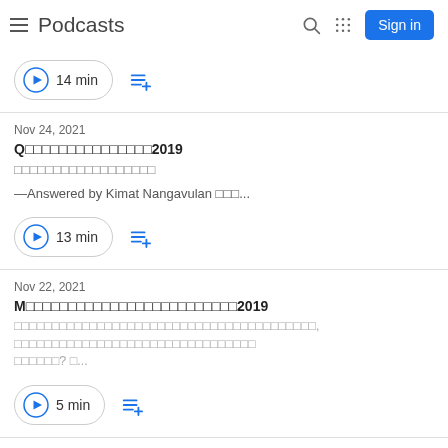Podcasts
14 min
Nov 24, 2021
Q󱤻󱤻󱤻󱤻󱤻󱤻󱤻󱤻󱤻󱤻󱤻󱤻󱤻󱤻󱤻2019
󱤻󱤻󱤻󱤻󱤻󱤻󱤻󱤻󱤻󱤻󱤻󱤻󱤻󱤻󱤻󱤻󱤻󱤻
—Answered by Kimat Nangavulan 󱤻󱤻󱤻...
13 min
Nov 22, 2021
M󱤻󱤻󱤻󱤻󱤻󱤻󱤻󱤻󱤻󱤻󱤻󱤻󱤻󱤻󱤻󱤻󱤻󱤻󱤻󱤻󱤻󱤻󱤻󱤻󱤻2019
󱤻󱤻󱤻󱤻󱤻󱤻󱤻󱤻󱤻󱤻󱤻󱤻󱤻󱤻󱤻󱤻󱤻󱤻󱤻󱤻󱤻󱤻󱤻󱤻󱤻󱤻󱤻󱤻󱤻󱤻󱤻󱤻󱤻󱤻󱤻󱤻󱤻󱤻󱤻󱤻, 󱤻󱤻󱤻󱤻󱤻󱤻󱤻󱤻󱤻󱤻󱤻󱤻󱤻󱤻󱤻󱤻󱤻󱤻󱤻󱤻󱤻󱤻󱤻󱤻󱤻󱤻󱤻󱤻󱤻󱤻󱤻󱤻
󱤻󱤻󱤻󱤻󱤻󱤻? 󱤻...
5 min